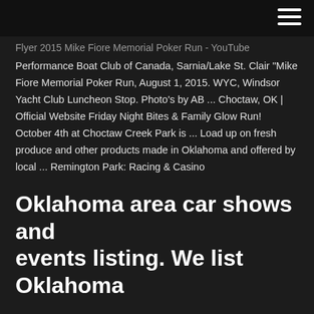Flyer 2015 Mike Fiore Memorial Poker Run - YouTube Performance Boat Club of Canada, Sarnia/Lake St. Clair "Mike Fiore Memorial Poker Run, August 1, 2015. WYC, Windsor Yacht Club Luncheon Stop. Photo's by AB ... Choctaw, OK | Official Website Friday Night Bites & Family Glow Run! October 4th at Choctaw Creek Park is ... Load up on fresh produce and other products made in Oklahoma and offered by local ... Remington Park: Racing & Casino
Oklahoma area car shows and events listing. We list Oklahoma
...
2019 Memorial Marathon Pace Groups - Red … 2019 OKC Pace Groups. Home; The Oklahoma City Memorial Marathon